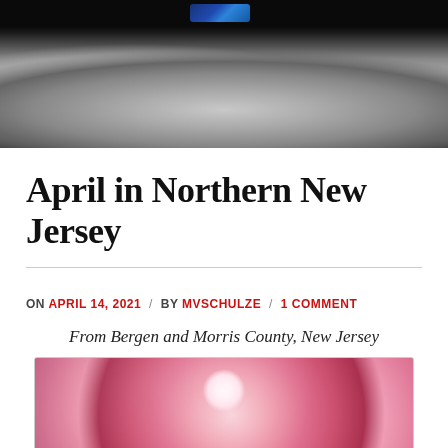[Figure (photo): Top banner image: dark sky background with lunar surface terrain visible, appears to show the moon with Earth or a spacecraft visible at top]
April in Northern New Jersey
ON APRIL 14, 2021 / BY MVSCHULZE / 1 COMMENT
From Bergen and Morris County, New Jersey
[Figure (photo): Close-up photograph of pink and red daisy-like flowers (possibly bellis/English daisies) in bloom with blurred background]